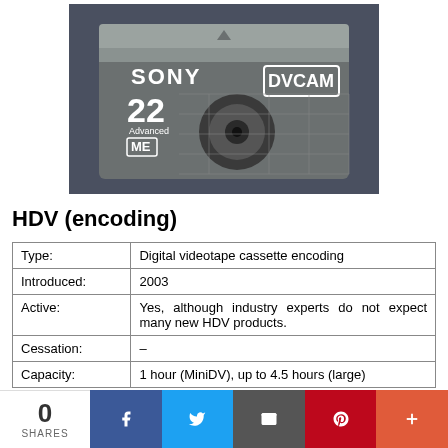[Figure (photo): Sony DVCAM videotape cassette (model 22 Advanced ME) on a blue background]
HDV (encoding)
| Type: | Digital videotape cassette encoding |
| Introduced: | 2003 |
| Active: | Yes, although industry experts do not expect many new HDV products. |
| Cessation: | – |
| Capacity: | 1 hour (MiniDV), up to 4.5 hours (large) |